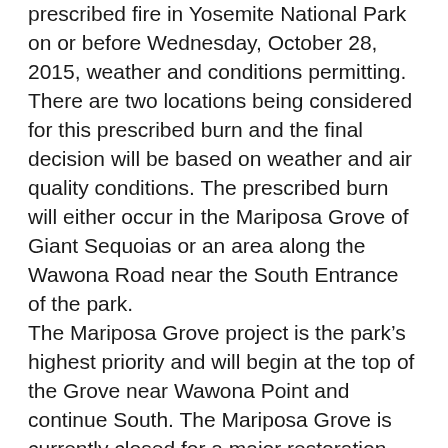prescribed fire in Yosemite National Park on or before Wednesday, October 28, 2015, weather and conditions permitting. There are two locations being considered for this prescribed burn and the final decision will be based on weather and air quality conditions. The prescribed burn will either occur in the Mariposa Grove of Giant Sequoias or an area along the Wawona Road near the South Entrance of the park. The Mariposa Grove project is the park's highest priority and will begin at the top of the Grove near Wawona Point and continue South. The Mariposa Grove is currently closed for a major restoration project and fire managers are aiming to complete this prescribed burn during the closure to prevent further interruption to park visitors. Fire produces the optimum conditions for Giant Sequoia reproduction and propagation by removing the accumulated layers of dead, woody debris and exposing nutrient rich